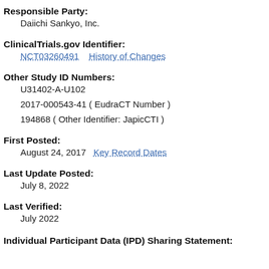Responsible Party:
Daiichi Sankyo, Inc.
ClinicalTrials.gov Identifier:
NCT03260491    History of Changes
Other Study ID Numbers:
U31402-A-U102
2017-000543-41 ( EudraCT Number )
194868 ( Other Identifier: JapicCTI )
First Posted:
August 24, 2017    Key Record Dates
Last Update Posted:
July 8, 2022
Last Verified:
July 2022
Individual Participant Data (IPD) Sharing Statement: